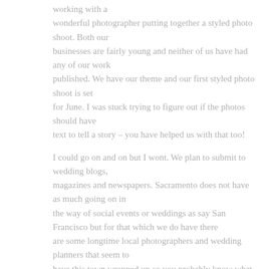working with a wonderful photographer putting together a styled photo shoot. Both our businesses are fairly young and neither of us have had any of our work published. We have our theme and our first styled photo shoot is set for June. I was stuck trying to figure out if the photos should have text to tell a story – you have helped us with that too!

I could go on and on but I wont. We plan to submit to wedding blogs, magazines and newspapers. Sacramento does not have as much going on in the way of social events or weddings as say San Francisco but for that which we do have there are some longtime local photographers and wedding planners that seem to have this town wrapped up so you probably know what we are up against. Still, we are soldiering on – please wish us luck and thanks again. You have truly helped.